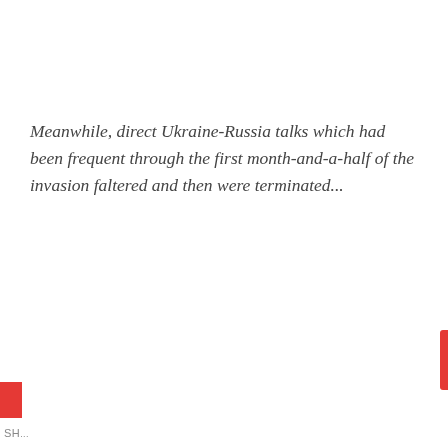Meanwhile, direct Ukraine-Russia talks which had been frequent through the first month-and-a-half of the invasion faltered and then were terminated...
[Figure (screenshot): Embedded tweet from NEXTA (@nexta_tv) with a browser push notification overlay asking 'Would you like to receive notifications on latest news and updates?' with CANCEL and YES buttons. Powered by GRAVITEC.]